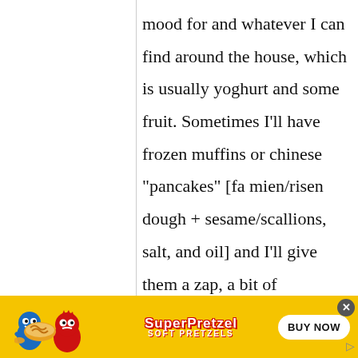mood for and whatever I can find around the house, which is usually yoghurt and some fruit. Sometimes I'll have frozen muffins or chinese "pancakes" [fa mien/risen dough + sesame/scallions, salt, and oil] and I'll give them a zap, a bit of
[Figure (infographic): SuperPretzel Soft Pretzels advertisement banner with yellow background, cartoon blue and red characters, SuperPretzel logo, and a 'BUY NOW' button]